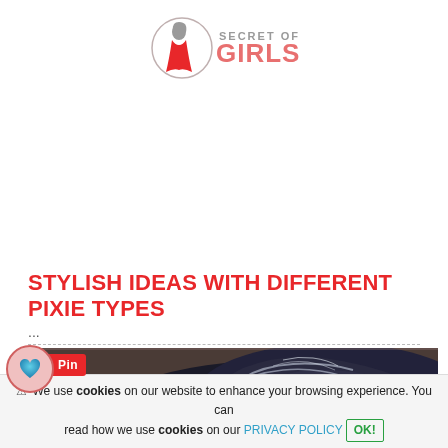[Figure (logo): Secret of Girls logo — stylized woman in red dress with circular emblem, text 'SECRET OF GIRLS' in gray]
STYLISH IDEAS WITH DIFFERENT PIXIE TYPES
...
[Figure (photo): Close-up photo of a woman's pixie haircut with blue-black hair on a brown background, with a Pinterest 'Pin' badge overlay and a heart icon button on the left]
⚠ We use cookies on our website to enhance your browsing experience. You can read how we use cookies on our PRIVACY POLICY OK!